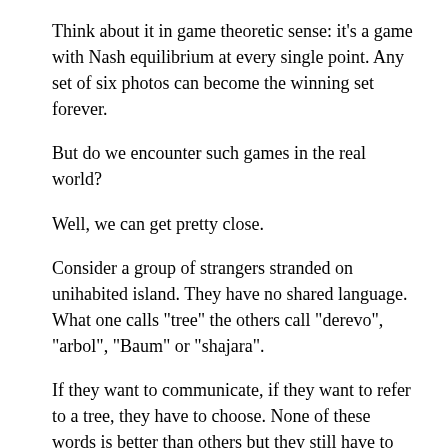Think about it in game theoretic sense: it's a game with Nash equilibrium at every single point. Any set of six photos can become the winning set forever.
But do we encounter such games in the real world?
Well, we can get pretty close.
Consider a group of strangers stranded on unihabited island. They have no shared language. What one calls "tree" the others call "derevo", "arbol", "Baum" or "shajara".
If they want to communicate, if they want to refer to a tree, they have to choose. None of these words is better than others but they still have to choose. And once the choice is made, there is no going back.
This is idea is not unknown in linguistics. It's called "arbitrariness of the sign" and was first formulated at the beginning of